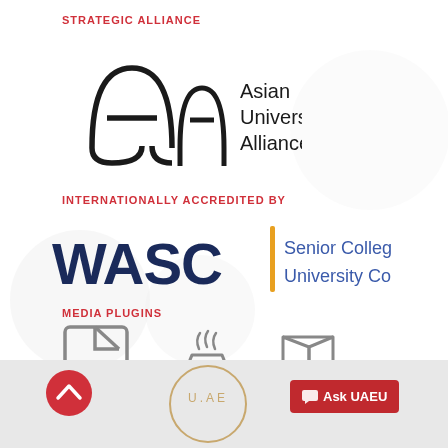STRATEGIC ALLIANCE
[Figure (logo): Asian Universities Alliance logo with stylized AUA letters and text 'Asian Universities Alliance']
INTERNATIONALLY ACCREDITED BY
[Figure (logo): WASC Senior College and University Commission logo with bold WASC text and orange divider]
MEDIA PLUGINS
[Figure (logo): Three media plugin icons: Adobe Acrobat PDF icon, Java coffee cup icon, Microsoft Office icon]
[Figure (logo): Scroll-up button (red circle with up chevron), UAEU circular logo, and Ask UAEU red button]